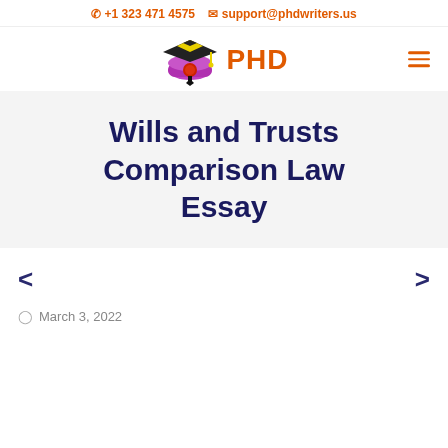+1 323 471 4575   support@phdwriters.us
[Figure (logo): PHD Writers logo with graduation cap and diploma icon, orange PHD text]
Wills and Trusts Comparison Law Essay
March 3, 2022